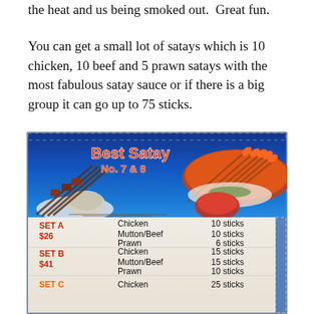the heat and us being smoked out. Great fun.
You can get a small lot of satays which is 10 chicken, 10 beef and 5 prawn satays with the most fabulous satay sauce or if there is a big group it can go up to 75 sticks.
[Figure (photo): Photo of a Best Satay No. 7 & 8 restaurant menu/sign showing food images of prawn and meat satays, and a menu listing SET A ($26): Chicken 10 sticks, Mutton/Beef 10 sticks, Prawn 6 sticks; SET B ($41): Chicken 15 sticks, Mutton/Beef 15 sticks, Prawn 10 sticks; and partially visible SET C with Chicken 25 sticks.]